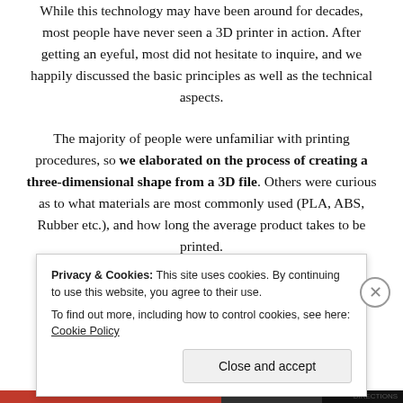While this technology may have been around for decades, most people have never seen a 3D printer in action. After getting an eyeful, most did not hesitate to inquire, and we happily discussed the basic principles as well as the technical aspects.
The majority of people were unfamiliar with printing procedures, so we elaborated on the process of creating a three-dimensional shape from a 3D file. Others were curious as to what materials are most commonly used (PLA, ABS, Rubber etc.), and how long the average product takes to be printed.
Hordes of people lined up to attempt our challenging
Privacy & Cookies: This site uses cookies. By continuing to use this website, you agree to their use. To find out more, including how to control cookies, see here: Cookie Policy